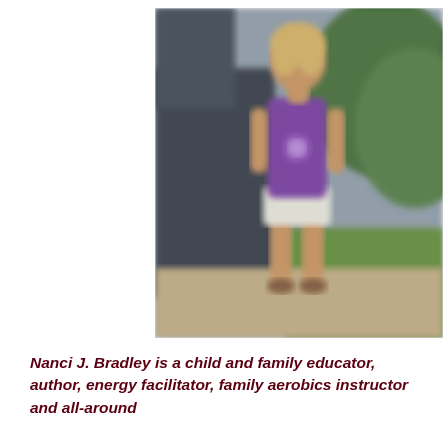[Figure (photo): A person standing outdoors in a purple tank top and white shorts, in front of a dark vehicle with green trees/grass in the background. The photo is blurred/soft focus.]
Nanci J. Bradley is a child and family educator, author, energy facilitator, family aerobics instructor and all-around